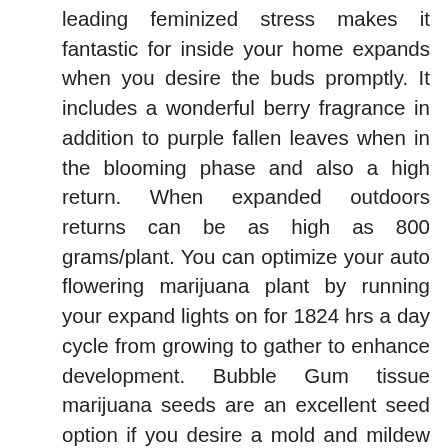leading feminized stress makes it fantastic for inside your home expands when you desire the buds promptly. It includes a wonderful berry fragrance in addition to purple fallen leaves when in the blooming phase and also a high return. When expanded outdoors returns can be as high as 800 grams/plant. You can optimize your auto flowering marijuana plant by running your expand lights on for 1824 hrs a day cycle from growing to gather to enhance development. Bubble Gum tissue marijuana seeds are an excellent seed option if you desire a mold and mildew immune sweet pressure. Attempt Royal Highness Marijuana Seed Today Auto flower plants must be expanded mainly from seed.